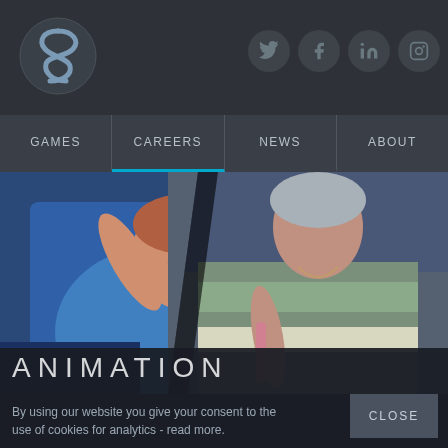[Figure (logo): Stylized double-S spiral logo in circle on dark background]
[Figure (infographic): Social media icons: Twitter, Facebook, LinkedIn, Instagram - circular grey buttons]
GAMES   CAREERS   NEWS   ABOUT
[Figure (photo): Two split photos: left shows a laughing man in blue hoodie, right shows a woman in striped green/white shirt holding something]
ANIMATION
By using our website you give your consent to the use of cookies for analytics - read more.
CLOSE